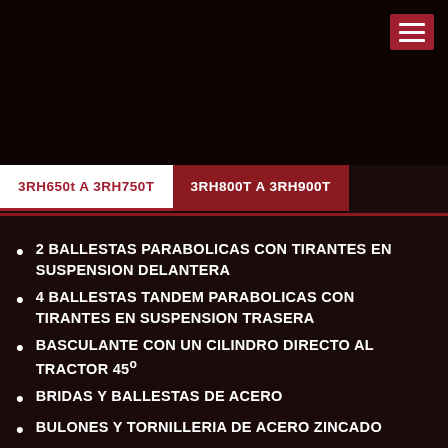[Figure (other): Dark header bar with hamburger menu icon in red on the right]
3RH650t A 3RH750T
3RH800T A 3RH900T
2 BALLESTAS PARABOLICAS CON TIRANTES EN SUSPENSION DELANTERA
4 BALLESTAS TANDEM PARABOLICAS CON TIRANTES EN SUSPENSION TRASERA
BASCULANTE CON UN CILINDRO DIRECTO AL TRACTOR 45º
BRIDAS Y BALLESTAS DE ACERO
BULONES Y TORNILLERIA DE ACERO ZINCADO
CAJON DE HERRAMIENTAS Y DEPOSITO DE